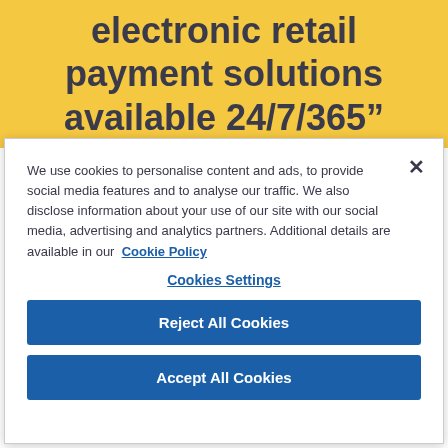electronic retail payment solutions available 24/7/365”
We use cookies to personalise content and ads, to provide social media features and to analyse our traffic. We also disclose information about your use of our site with our social media, advertising and analytics partners. Additional details are available in our Cookie Policy
Cookies Settings
Reject All Cookies
Accept All Cookies